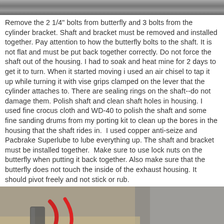[Figure (photo): Top partial photo showing a mechanical component with rough/textured metal surface]
Remove the 2 1/4" bolts from butterfly and 3 bolts from the cylinder bracket. Shaft and bracket must be removed and installed together. Pay attention to how the butterfly bolts to the shaft. It is not flat and must be put back together correctly. Do not force the shaft out of the housing. I had to soak and heat mine for 2 days to get it to turn. When it started moving i used an air chisel to tap it up while turning it with vise grips clamped on the lever that the cylinder attaches to. There are sealing rings on the shaft--do not damage them. Polish shaft and clean shaft holes in housing. I used fine crocus cloth and WD-40 to polish the shaft and some fine sanding drums from my porting kit to clean up the bores in the housing that the shaft rides in.  I used copper anti-seize and Pacbrake Superlube to lube everything up. The shaft and bracket must be installed together.  Make sure to use lock nuts on the butterfly when putting it back together. Also make sure that the butterfly does not touch the inside of the exhaust housing. It should pivot freely and not stick or rub.
[Figure (photo): Bottom photo showing mechanical parts including what appears to be red-handled tools or hoses and metal components on a surface]